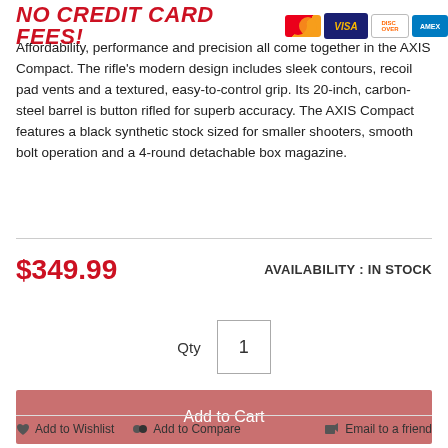NO CREDIT CARD FEES!
Affordability, performance and precision all come together in the AXIS Compact. The rifle's modern design includes sleek contours, recoil pad vents and a textured, easy-to-control grip. Its 20-inch, carbon-steel barrel is button rifled for superb accuracy. The AXIS Compact features a black synthetic stock sized for smaller shooters, smooth bolt operation and a 4-round detachable box magazine.
$349.99
AVAILABILITY : IN STOCK
Qty  1
Add to Cart
Add to Wishlist  Add to Compare  Email to a friend